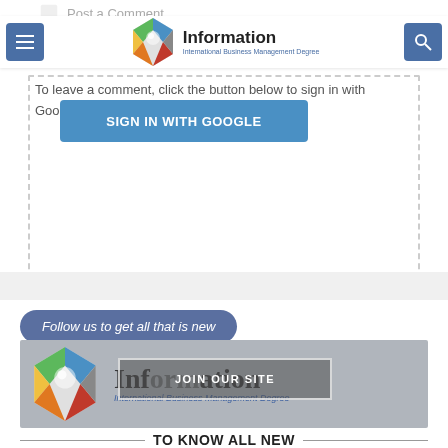Post a Comment
[Figure (logo): Information International Business Management Degree logo with colorful hexagonal gem icon]
To leave a comment, click the button below to sign in with Google.
[Figure (screenshot): SIGN IN WITH GOOGLE blue button inside dashed border box]
Follow us to get all that is new
[Figure (logo): Information International Business Management Degree banner with JOIN OUR SITE overlay button]
TO KNOW ALL NEW